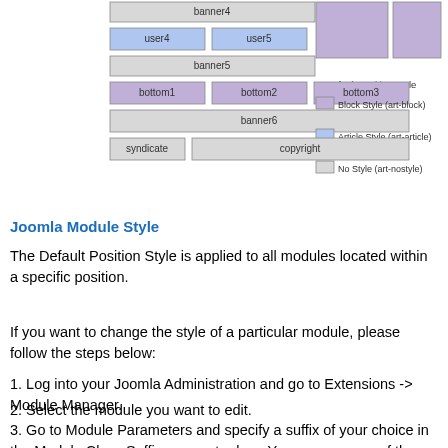[Figure (schematic): Joomla module position layout diagram showing banner4, user4, user5, banner5, bottom1, bottom2, bottom3, banner6, syndicate, copyright positions with a legend showing Default Position Style: Block Style (art-block), Article Style (art-article), No Style (art-nostyle)]
Joomla Module Style
The Default Position Style is applied to all modules located within a specific position.
If you want to change the style of a particular module, please follow the steps below:
1. Log into your Joomla Administration and go to Extensions -> Module Manager.
2. Select the module you want to edit.
3. Go to Module Parameters and specify a suffix of your choice in the Module Class Suffix parameter box. You can use one of the available suffixes: art-